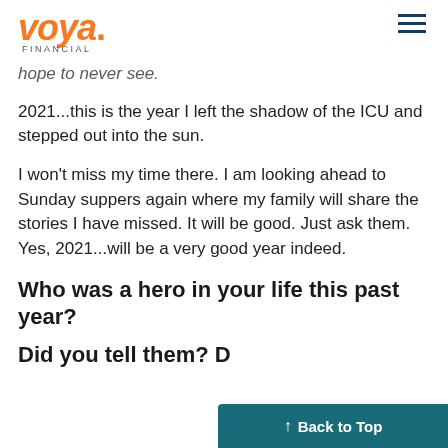Voya Financial
hope to never see.
2021...this is the year I left the shadow of the ICU and stepped out into the sun.
I won't miss my time there. I am looking ahead to Sunday suppers again where my family will share the stories I have missed. It will be good. Just ask them. Yes, 2021...will be a very good year indeed.
Who was a hero in your life this past year?
Did you tell them? D
↑ Back to Top